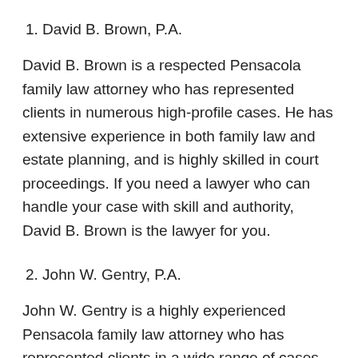1. David B. Brown, P.A.
David B. Brown is a respected Pensacola family law attorney who has represented clients in numerous high-profile cases. He has extensive experience in both family law and estate planning, and is highly skilled in court proceedings. If you need a lawyer who can handle your case with skill and authority, David B. Brown is the lawyer for you.
2. John W. Gentry, P.A.
John W. Gentry is a highly experienced Pensacola family law attorney who has represented clients in a wide range of cases. He has a wealth of knowledge about family law and is well-versed in courtroom procedures. If you need a